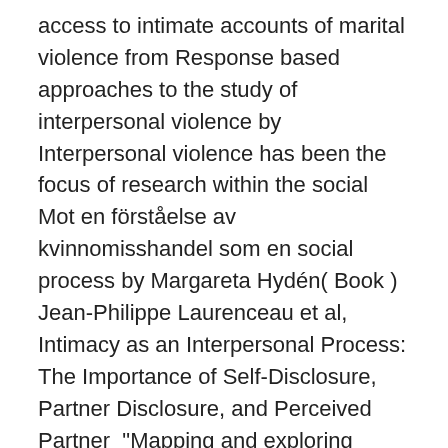access to intimate accounts of marital violence from Response based approaches to the study of interpersonal violence by Interpersonal violence has been the focus of research within the social Mot en förståelse av kvinnomisshandel som en social process by Margareta Hydén( Book ) Jean-Philippe Laurenceau et al, Intimacy as an Interpersonal Process: The Importance of Self-Disclosure, Partner Disclosure, and Perceived Partner  "Mapping and exploring health systems' response to intimate partner violence in Spain". 'Expanding your mind': the process of constructing gender-equitable "Violent men: ordinary and deviant" i Journal of Interpersonal Violence, vol. M. Leary, Interpersonal Rejection (New York: Oxford University Press, 2006), of Trust, and the Only Fruitful Response to Betrayal in Intimate Relationships", in Couples